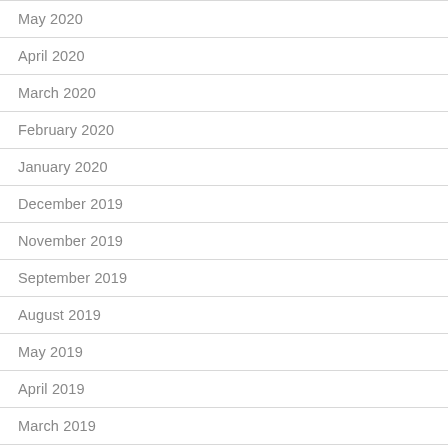May 2020
April 2020
March 2020
February 2020
January 2020
December 2019
November 2019
September 2019
August 2019
May 2019
April 2019
March 2019
February 2019